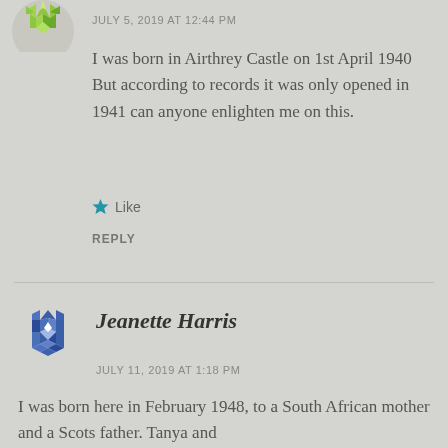[Figure (illustration): Avatar icon — green geometric star/quilt pattern, partially visible at top left]
JULY 5, 2019 AT 12:44 PM
I was born in Airthrey Castle on 1st April 1940 But according to records it was only opened in 1941 can anyone enlighten me on this.
Like
REPLY
[Figure (illustration): Avatar icon — blue and white geometric star/quilt pattern in a circle]
Jeanette Harris
JULY 11, 2019 AT 1:18 PM
I was born here in February 1948, to a South African mother and a Scots father. Tanya and